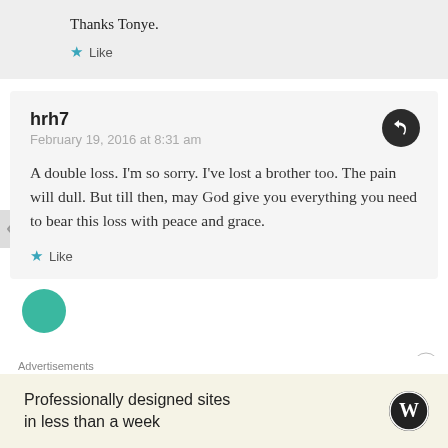Thanks Tonye.
★ Like
hrh7
February 19, 2016 at 8:31 am
A double loss. I'm so sorry. I've lost a brother too. The pain will dull. But till then, may God give you everything you need to bear this loss with peace and grace.
★ Like
Advertisements
Professionally designed sites in less than a week